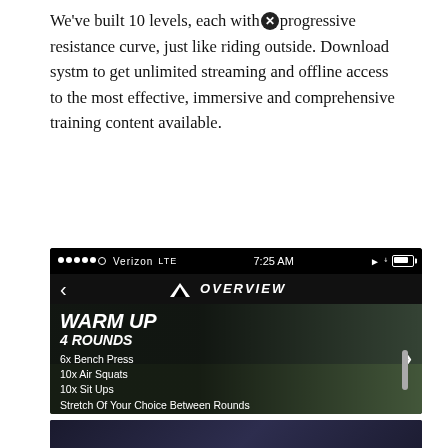We've built 10 levels, each with a progressive resistance curve, just like riding outside. Download systm to get unlimited streaming and offline access to the most effective, immersive and comprehensive training content available.
[Figure (screenshot): Mobile app screenshot showing a workout overview screen. Status bar shows Verizon LTE 7:25 AM. Navigation bar shows back arrow and 'OVERVIEW' title. Workout section shows 'WARM UP 4 ROUNDS' with exercises: 6x Bench Press, 10x Air Squats, 10x Sit Ups, Stretch Of Your Choice Between Rounds. Background shows a woman stretching in a gym.]
[Figure (screenshot): Partial screenshot of another app screen showing a dark gym environment, partially visible with a close/dismiss button at the bottom center.]